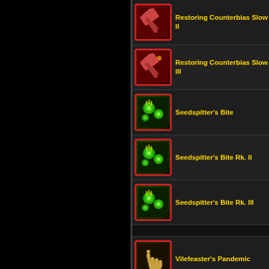Restoring Counterbias Slow II
Restoring Counterbias Slow III
Seedspitter's Bite
Seedspitter's Bite Rk. II
Seedspitter's Bite Rk. III
Vilefeaster's Pandemic
Vilefeaster's Pandemic Rk. II
Vilefeaster's Pandemic Rk. III